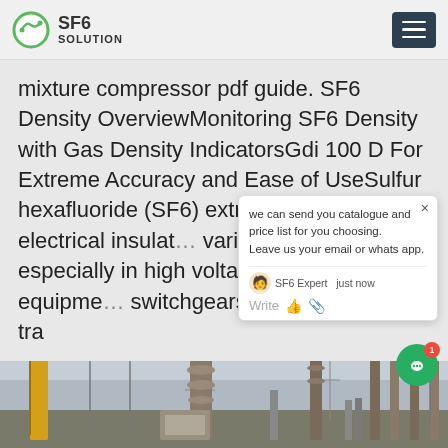SF6 SOLUTION
mixture compressor pdf guide. SF6 Density OverviewMonitoring SF6 Density with Gas Density IndicatorsGdi 100 D For Extreme Accuracy and Ease of UseSulfur hexafluoride (SF6) extremely effective electrical insulation variety of applications, especially in high voltage gas insulated equipment switchgears, disconnectors, tra
[Figure (screenshot): Chat popup overlay with message: we can send you catalogue and price list for you choosing. Leave us your email or whatsapp. SF6 Expert just now. Write.]
[Figure (photo): Photograph of a high-voltage electrical substation with tall insulators, transmission towers, and overhead lines against a cloudy sky.]